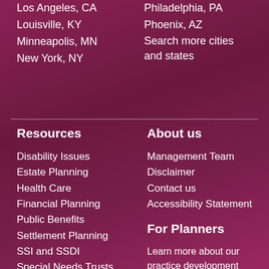Los Angeles, CA
Louisville, KY
Minneapolis, MN
New York, NY
Philadelphia, PA
Phoenix, AZ
Search more cities and states
Resources
Disability Issues
Estate Planning
Health Care
Financial Planning
Public Benefits
Settlement Planning
SSI and SSDI
Special Needs Trusts
Pooled Trusts
About us
Management Team
Disclaimer
Contact us
Accessibility Statement
For Planners
Learn more about our practice development tools for special needs planners.